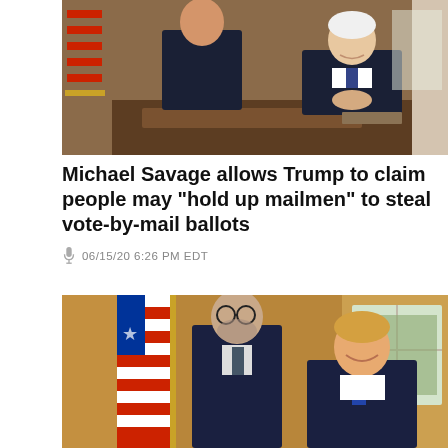[Figure (photo): Two men posing for a photo in the Oval Office, one seated at a desk (older man with white hair smiling), one standing beside him in a navy suit. American flag visible in background.]
Michael Savage allows Trump to claim people may “hold up mailmen” to steal vote-by-mail ballots
06/15/20 6:26 PM EDT
[Figure (photo): Two men posing in the Oval Office. One man standing in a navy suit with glasses and patterned tie, American flag to the left. The other (Trump) seated and smiling, in front of gold curtains and window.]